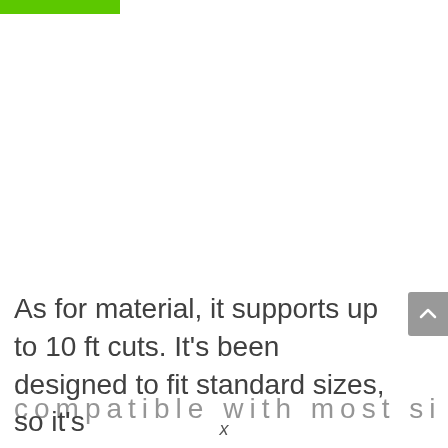As for material, it supports up to 10 ft cuts. It's been designed to fit standard sizes, so it's compatible with most sizes and most